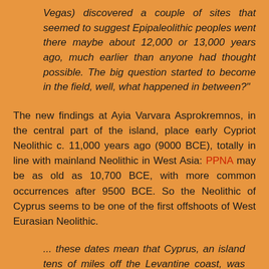Vegas) discovered a couple of sites that seemed to suggest Epipaleolithic peoples went there maybe about 12,000 or 13,000 years ago, much earlier than anyone had thought possible. The big question started to become in the field, well, what happened in between?"
The new findings at Ayia Varvara Asprokremnos, in the central part of the island, place early Cypriot Neolithic c. 11,000 years ago (9000 BCE), totally in line with mainland Neolithic in West Asia: PPNA may be as old as 10,700 BCE, with more common occurrences after 9500 BCE. So the Neolithic of Cyprus seems to be one of the first offshoots of West Eurasian Neolithic.
... these dates mean that Cyprus, an island tens of miles off the Levantine coast, was involved in the very early Neolithic world, and thus long-distance sea travel and maritime communication must now be actively factored into discussions of